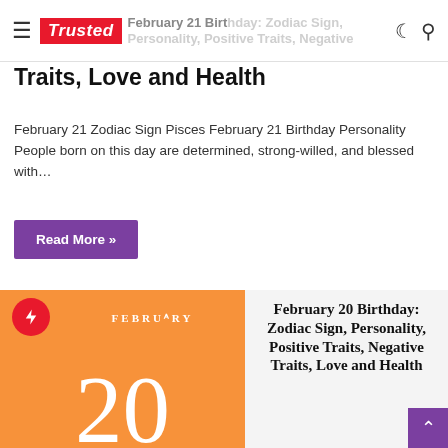≡ Trusted — February 21 Birthday: Zodiac Sign, Personality, Positive Traits, Negative
Traits, Love and Health
February 21 Zodiac Sign Pisces February 21 Birthday Personality People born on this day are determined, strong-willed, and blessed with…
Read More »
[Figure (illustration): Orange card showing FEBRUARY label and large number 20 with red lightning bolt circle icon]
February 20 Birthday: Zodiac Sign, Personality, Positive Traits, Negative Traits, Love and Health